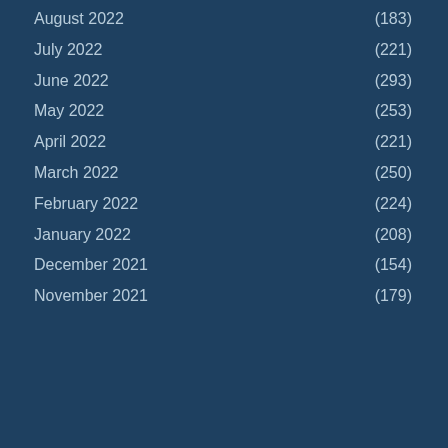August 2022 (183)
July 2022 (221)
June 2022 (293)
May 2022 (253)
April 2022 (221)
March 2022 (250)
February 2022 (224)
January 2022 (208)
December 2021 (154)
November 2021 (179)